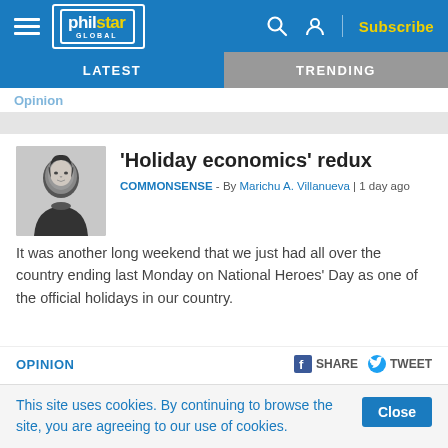philstar GLOBAL — Subscribe
LATEST | TRENDING
'Holiday economics' redux
COMMONSENSE - By Marichu A. Villanueva | 1 day ago
[Figure (photo): Black and white headshot photo of Marichu A. Villanueva]
It was another long weekend that we just had all over the country ending last Monday on National Heroes' Day as one of the official holidays in our country.
OPINION   SHARE   TWEET
This site uses cookies. By continuing to browse the site, you are agreeing to our use of cookies.